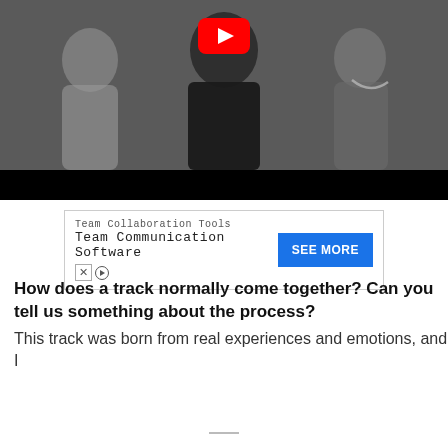[Figure (screenshot): YouTube video thumbnail showing people sitting together, with a red YouTube play button icon at the top center, and a black bar at the bottom of the video player.]
[Figure (screenshot): Advertisement banner: 'Team Collaboration Tools / Team Communication Software' with a blue 'SEE MORE' button on the right and small X and play icons on the lower left.]
How does a track normally come together? Can you tell us something about the process?
This track was born from real experiences and emotions, and I